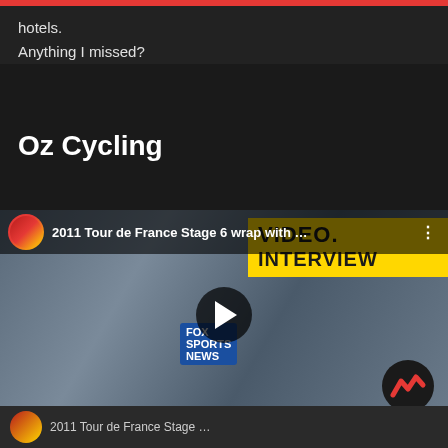hotels.
Anything I missed?
Oz Cycling
[Figure (screenshot): YouTube video thumbnail showing a cyclist in a Sky team green and black jersey being interviewed by Fox Sports News at the 2011 Tour de France Stage 6, with a yellow 'VIDEO INTERVIEW' banner in the background. Title reads '2011 Tour de France Stage 6 wrap with ...']
[Figure (screenshot): Bottom thumbnail strip showing another video thumbnail with a small circular channel icon]